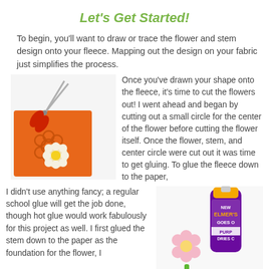Let's Get Started!
To begin, you'll want to draw or trace the flower and stem design onto your fleece. Mapping out the design on your fabric just simplifies the process.
[Figure (photo): Photo showing orange felt fabric with a flower shape cut out, a small wooden daisy decoration, and red-handled scissors on a white background.]
Once you've drawn your shape onto the fleece, it's time to cut the flowers out! I went ahead and began by cutting out a small circle for the center of the flower before cutting the flower itself. Once the flower, stem, and center circle were cut out it was time to get gluing. To glue the fleece down to the paper, I didn't use anything fancy; a regular school glue will get the job done, though hot glue would work fabulously for this project as well. I first glued the stem down to the paper as the foundation for the flower, I
[Figure (photo): Photo of a pink felt flower with yellow center on a green stem, next to a bottle of Elmer's purple glue on a white background.]